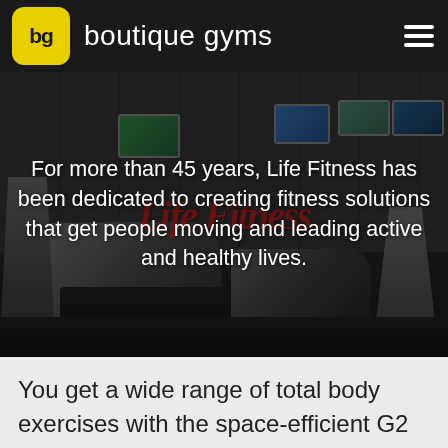boutique gyms
[Figure (photo): Interior of a gym with treadmills and elliptical machines, dark grey aesthetic with TV screens mounted above equipment. Life Fitness script logo overlaid in red across the center. White text overlaid: 'For more than 45 years, Life Fitness has been dedicated to creating fitness solutions that get people moving and leading active and healthy lives.']
You get a wide range of total body exercises with the space-efficient G2